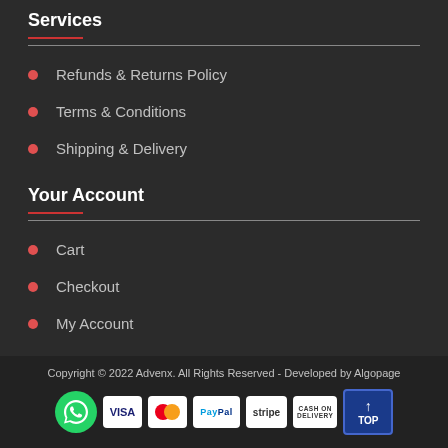Services
Refunds & Returns Policy
Terms & Conditions
Shipping & Delivery
Your Account
Cart
Checkout
My Account
Copyright © 2022 Advenx. All Rights Reserved - Developed by Algopage